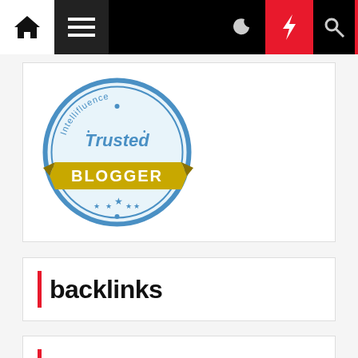Navigation bar with home, hamburger menu, dark mode, bolt/flash, and search icons
[Figure (logo): Intellifluence Trusted Blogger badge — circular blue badge with gold ribbon banner reading BLOGGER]
backlinks
textlinks
xtremefreegames.com/how-to-download-360-profile-on-xbox-one.html